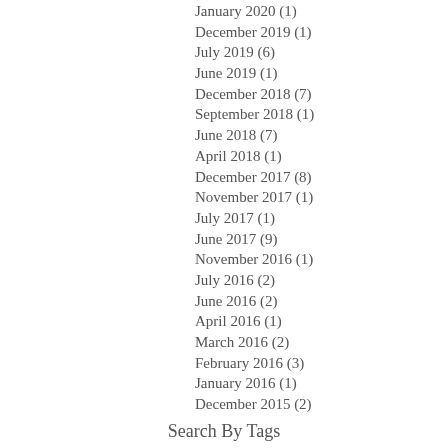January 2020 (1)
December 2019 (1)
July 2019 (6)
June 2019 (1)
December 2018 (7)
September 2018 (1)
June 2018 (7)
April 2018 (1)
December 2017 (8)
November 2017 (1)
July 2017 (1)
June 2017 (9)
November 2016 (1)
July 2016 (2)
June 2016 (2)
April 2016 (1)
March 2016 (2)
February 2016 (3)
January 2016 (1)
December 2015 (2)
Search By Tags